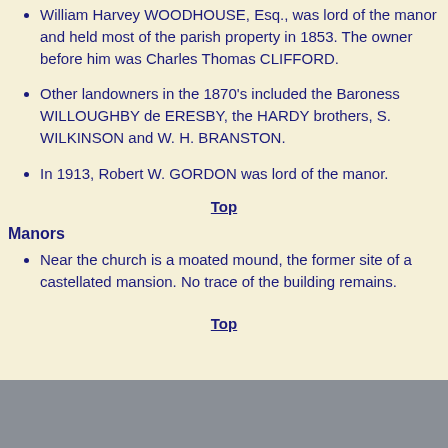William Harvey WOODHOUSE, Esq., was lord of the manor and held most of the parish property in 1853. The owner before him was Charles Thomas CLIFFORD.
Other landowners in the 1870's included the Baroness WILLOUGHBY de ERESBY, the HARDY brothers, S. WILKINSON and W. H. BRANSTON.
In 1913, Robert W. GORDON was lord of the manor.
Top
Manors
Near the church is a moated mound, the former site of a castellated mansion. No trace of the building remains.
Top
Maps